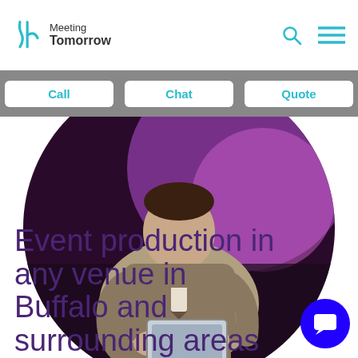Meeting Tomorrow
Call | Chat | Quote
[Figure (photo): A man in a grey suit holding a tablet, seated, against a purple bokeh background, shown in a circular crop.]
Event production in any venue in Buffalo and surrounding areas